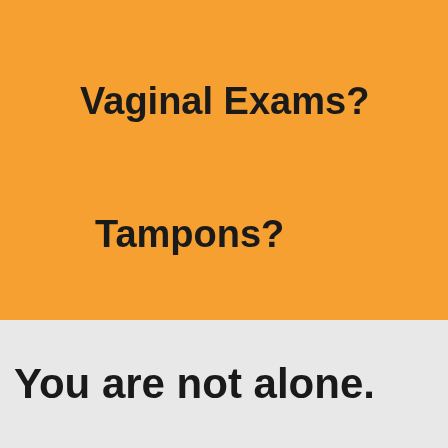Vaginal Exams?
Tampons?
You are not alone.